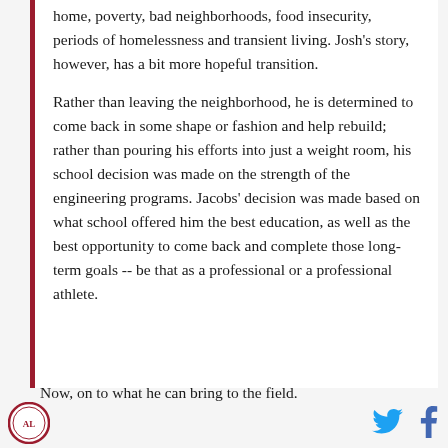home, poverty, bad neighborhoods, food insecurity, periods of homelessness and transient living. Josh's story, however, has a bit more hopeful transition.
Rather than leaving the neighborhood, he is determined to come back in some shape or fashion and help rebuild; rather than pouring his efforts into just a weight room, his school decision was made on the strength of the engineering programs. Jacobs' decision was made based on what school offered him the best education, as well as the best opportunity to come back and complete those long-term goals -- be that as a professional or a professional athlete.
Now, on to what he can bring to the field.
[Figure (logo): Circular logo with red border]